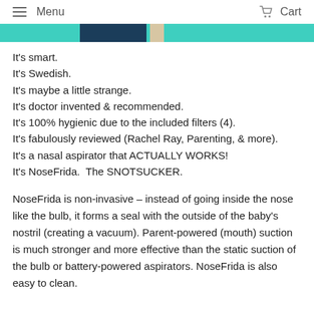Menu   Cart
[Figure (illustration): Partial hero banner image with teal/turquoise background and dark navy center element, partially cropped at top of page]
It's smart.
It's Swedish.
It's maybe a little strange.
It's doctor invented & recommended.
It's 100% hygienic due to the included filters (4).
It's fabulously reviewed (Rachel Ray, Parenting, & more).
It's a nasal aspirator that ACTUALLY WORKS!
It's NoseFrida.  The SNOTSUCKER.
NoseFrida is non-invasive – instead of going inside the nose like the bulb, it forms a seal with the outside of the baby's nostril (creating a vacuum). Parent-powered (mouth) suction is much stronger and more effective than the static suction of the bulb or battery-powered aspirators. NoseFrida is also easy to clean.